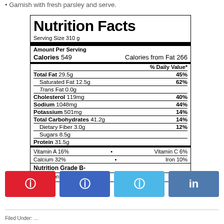Garnish with fresh parsley and serve.
| Serving Size 310 g |
| Amount Per Serving |
| Calories 549 | Calories from Fat 266 |
| % Daily Value* |
| Total Fat 29.5g | 45% |
| Saturated Fat 12.5g | 62% |
| Trans Fat 0.0g |  |
| Cholesterol 119mg | 40% |
| Sodium 1048mg | 44% |
| Potassium 501mg | 14% |
| Total Carbohydrates 41.2g | 14% |
| Dietary Fiber 3.0g | 12% |
| Sugars 8.5g |  |
| Protein 31.5g |  |
| Vitamin A 16% | · | Vitamin C 6% |
| Calcium 32% | · | Iron 10% |
| Nutrition Grade B- |
| * Based on a 2000 calorie diet |